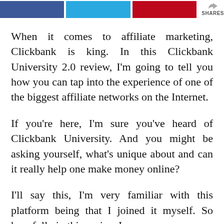SHARES
When it comes to affiliate marketing, Clickbank is king. In this Clickbank University 2.0 review, I'm going to tell you how you can tap into the experience of one of the biggest affiliate networks on the Internet.
If you're here, I'm sure you've heard of Clickbank University. And you might be asking yourself, what's unique about and can it really help one make money online?
I'll say this, I'm very familiar with this platform being that I joined it myself. So hopefully in this review I can answer your